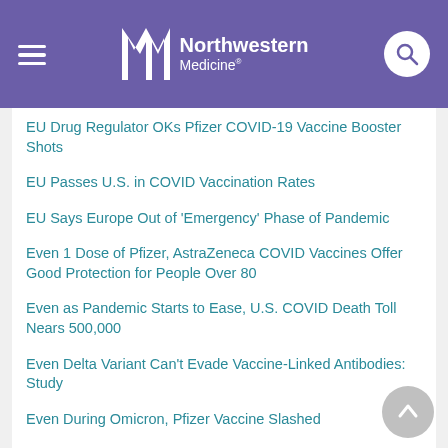Northwestern Medicine
EU Drug Regulator OKs Pfizer COVID-19 Vaccine Booster Shots
EU Passes U.S. in COVID Vaccination Rates
EU Says Europe Out of 'Emergency' Phase of Pandemic
Even 1 Dose of Pfizer, AstraZeneca COVID Vaccines Offer Good Protection for People Over 80
Even as Pandemic Starts to Ease, U.S. COVID Death Toll Nears 500,000
Even Delta Variant Can't Evade Vaccine-Linked Antibodies: Study
Even During Omicron, Pfizer Vaccine Slashed